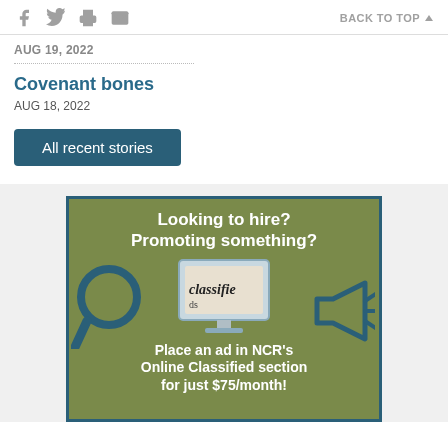Social share icons | BACK TO TOP
AUG 19, 2022
Covenant bones
AUG 18, 2022
All recent stories
[Figure (illustration): Advertisement banner with olive/green background and dark teal border. Text reads: 'Looking to hire? Promoting something?' with icons of a magnifying glass, a computer monitor displaying 'classifieds', and a megaphone. Bottom text: 'Place an ad in NCR's Online Classified section for just $75/month!']